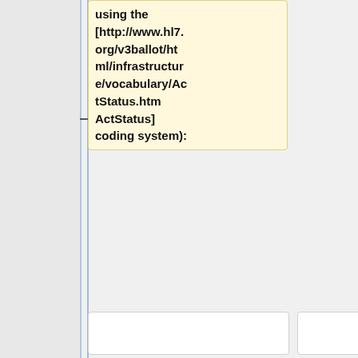using the [http://www.hl7.org/v3ballot/html/infrastructure/vocabulary/ActStatus.htm ActStatus] coding system):
* ''' aborted''' (sub-state of normal): The Act has been terminated prior to the originally intended completion.
Currently, the Security work group is attempting to [http://hl7projects.hl7.nscee.edu/docman/view.php/57/316/2008.08.01%20ANALYSIS%20SNOMED%20CT%20to%20RBAC%20P